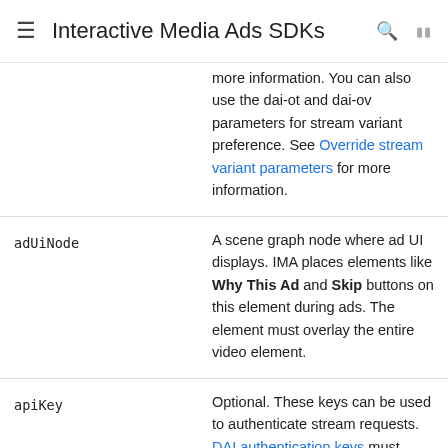Interactive Media Ads SDKs
| Parameter | Description |
| --- | --- |
|  | more information. You can also use the dai-ot and dai-ov parameters for stream variant preference. See Override stream variant parameters for more information. |
| adUiNode | A scene graph node where ad UI displays. IMA places elements like Why This Ad and Skip buttons on this element during ads. The element must overlay the entire video element. |
| apiKey | Optional. These keys can be used to authenticate stream requests. DAI authentication keys must |